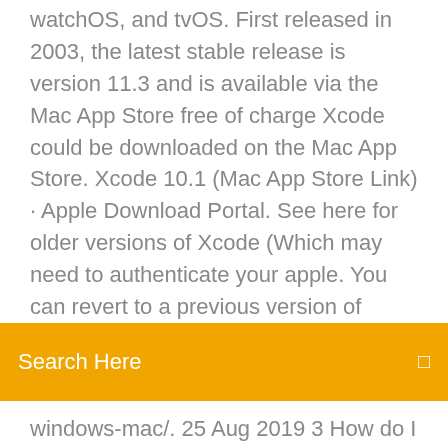watchOS, and tvOS. First released in 2003, the latest stable release is version 11.3 and is available via the Mac App Store free of charge Xcode could be downloaded on the Mac App Store. Xcode 10.1 (Mac App Store Link) · Apple Download Portal. See here for older versions of Xcode (Which may need to authenticate your apple. You can revert to a previous version of
[Figure (screenshot): Orange/amber search bar with 'Search Here' text in white on the left and a search icon on the right]
windows-mac/. 25 Aug 2019 3 How do I download older versions of the Netflix app? than that, you can't download the latest version of Netflix from the App Store. Unfortunately, you can't install an earlier version of iTunes if your Mac is running macOS  Devices and Mac OS X version. VLC media player requires Mac OS X 10.7.5 or later. It runs on any 64bit Intel-based Mac. Previous devices are supported by
Xcode 10.1 (Mac App Store Link) · Apple Download Portal. See here for older versions of Xcode (Which